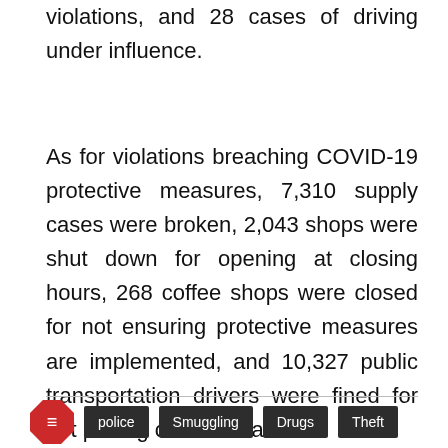violations, and 28 cases of driving under influence.
As for violations breaching COVID-19 protective measures, 7,310 supply cases were broken, 2,043 shops were shut down for opening at closing hours, 268 coffee shops were closed for not ensuring protective measures are implemented, and 10,327 public transportation drivers were fined for not putting on face masks.
police  Smuggling  Drugs  Theft